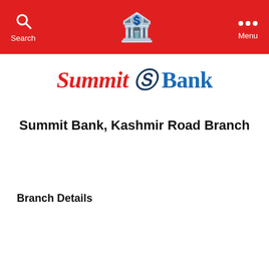Search | [bank icon] | Menu
[Figure (logo): Summit Bank logo with red italic 'Summit', stylized S symbol, and blue 'Bank' text]
Summit Bank, Kashmir Road Branch
Search your bank here...
Branch Details
|  |  |
| --- | --- |
| City | SIALKOT |
| Branch Name | Kashmir Road Branch |
| Branch Code | 1111 |